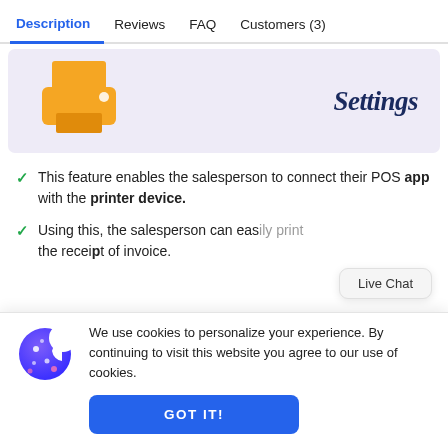Description   Reviews   FAQ   Customers (3)
[Figure (screenshot): Screenshot banner showing an orange printer icon on a light purple background with 'Settings' text in dark blue serif italic font on the right side.]
This feature enables the salesperson to connect their POS app with the printer device.
Using this, the salesperson can easily print the receipt of invoice.
Live Chat
We use cookies to personalize your experience. By continuing to visit this website you agree to our use of cookies.
GOT IT!